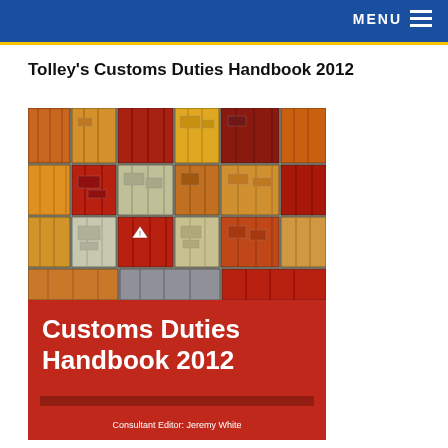MENU
Tolley's Customs Duties Handbook 2012
[Figure (photo): Book cover of Tolley's Customs Duties Handbook 2012, showing stacked shipping containers in the upper portion and a red background with white bold text 'Customs Duties Handbook 2012' and 'Consultant Editor: Jeremy White' in the lower portion.]